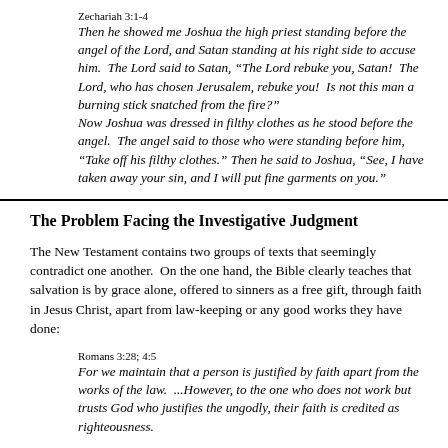Zechariah 3:1-4
Then he showed me Joshua the high priest standing before the angel of the Lord, and Satan standing at his right side to accuse him. The Lord said to Satan, “The Lord rebuke you, Satan! The Lord, who has chosen Jerusalem, rebuke you! Is not this man a burning stick snatched from the fire?” Now Joshua was dressed in filthy clothes as he stood before the angel. The angel said to those who were standing before him, “Take off his filthy clothes.” Then he said to Joshua, “See, I have taken away your sin, and I will put fine garments on you.”
The Problem Facing the Investigative Judgment
The New Testament contains two groups of texts that seemingly contradict one another. On the one hand, the Bible clearly teaches that salvation is by grace alone, offered to sinners as a free gift, through faith in Jesus Christ, apart from law-keeping or any good works they have done:
Romans 3:28; 4:5
For we maintain that a person is justified by faith apart from the works of the law. ...However, to the one who does not work but trusts God who justifies the ungodly, their faith is credited as righteousness.